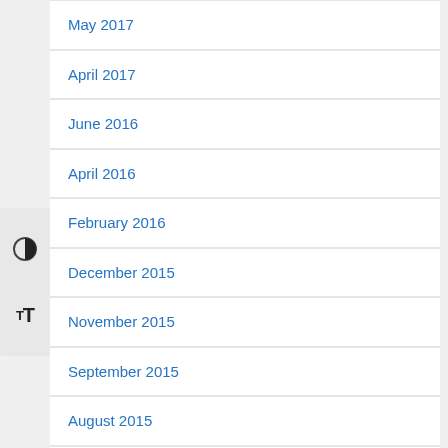May 2017
April 2017
June 2016
April 2016
February 2016
December 2015
November 2015
September 2015
August 2015
July 2015
June 2015
May 2015